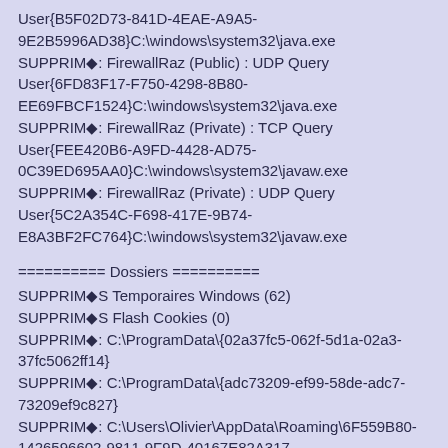User{B5F02D73-841D-4EAE-A9A5-9E2B5996AD38}C:\windows\system32\java.exe
SUPPRIMÉ: FirewallRaz (Public) : UDP Query User{6FD83F17-F750-4298-8B80-EE69FBCF1524}C:\windows\system32\java.exe
SUPPRIMÉ: FirewallRaz (Private) : TCP Query User{FEE420B6-A9FD-4428-AD75-0C39ED695AA0}C:\windows\system32\javaw.exe
SUPPRIMÉ: FirewallRaz (Private) : UDP Query User{5C2A354C-F698-417E-9B74-E8A3BF2FC764}C:\windows\system32\javaw.exe
========== Dossiers ==========
SUPPRIMÉS Temporaires Windows (62)
SUPPRIMÉS Flash Cookies (0)
SUPPRIMÉ: C:\ProgramData\{02a37fc5-062f-5d1a-02a3-37fc5062ff14}
SUPPRIMÉ: C:\ProgramData\{adc73209-ef99-58de-adc7-73209ef9c827}
SUPPRIMÉ: C:\Users\Olivier\AppData\Roaming\6F559B80-1426596602-9811-9F9D-40167E82A317
SUPPRIMÉ: C:\Users\Olivier\AppData\Roaming\6F559B80-